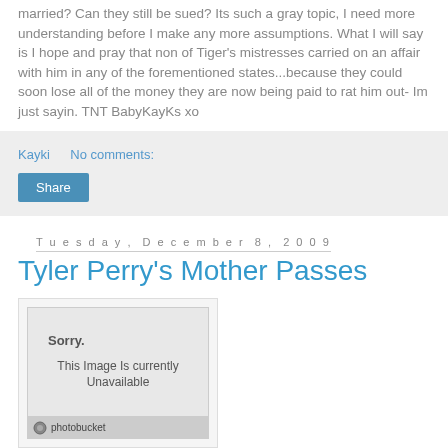married? Can they still be sued? Its such a gray topic, I need more understanding before I make any more assumptions. What I will say is I hope and pray that non of Tiger's mistresses carried on an affair with him in any of the forementioned states...because they could soon lose all of the money they are now being paid to rat him out- Im just sayin. TNT BabyKayKs xo
Kayki    No comments:
Share
Tuesday, December 8, 2009
Tyler Perry's Mother Passes
[Figure (photo): Image placeholder showing 'Sorry. This Image Is currently Unavailable' with photobucket logo bar at bottom]